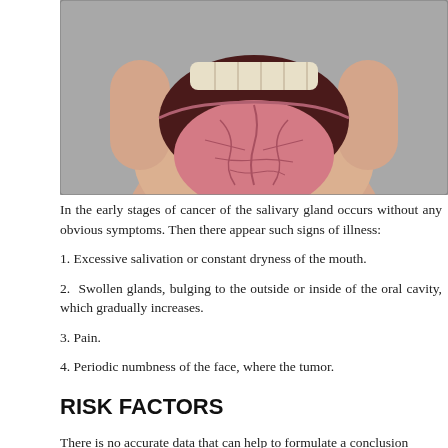[Figure (photo): Close-up photo of a person with mouth wide open, sticking out a cracked/fissured tongue against a grey background]
In the early stages of cancer of the salivary gland occurs without any obvious symptoms. Then there appear such signs of illness:
1. Excessive salivation or constant dryness of the mouth.
2. Swollen glands, bulging to the outside or inside of the oral cavity, which gradually increases.
3. Pain.
4. Periodic numbness of the face, where the tumor.
RISK FACTORS
There is no accurate data that can help to formulate a conclusion